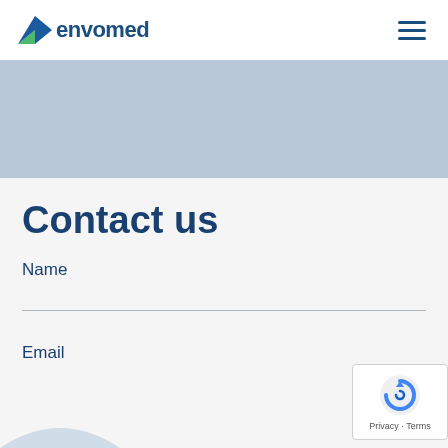[Figure (logo): Envomed logo with green and blue chevron icon and dark blue 'envomed' wordmark]
[Figure (illustration): Hamburger menu icon with three horizontal dark blue lines]
[Figure (illustration): Light steel blue hero banner/image band]
Contact us
Name
Email
[Figure (other): reCAPTCHA badge with spinning arrow icon and Privacy · Terms text]